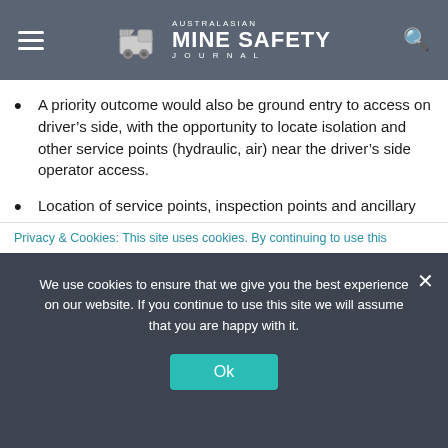Australasian Mine Safety Journal
A priority outcome would also be ground entry to access on driver's side, with the opportunity to locate isolation and other service points (hydraulic, air) near the driver's side operator access.
Location of service points, inspection points and ancillary equipment that eliminates the need to work at heights, during routine maintenance or repair.
Provision of work platforms with suitable
Privacy & Cookies: This site uses cookies. By continuing to use this
We use cookies to ensure that we give you the best experience on our website. If you continue to use this site we will assume that you are happy with it.